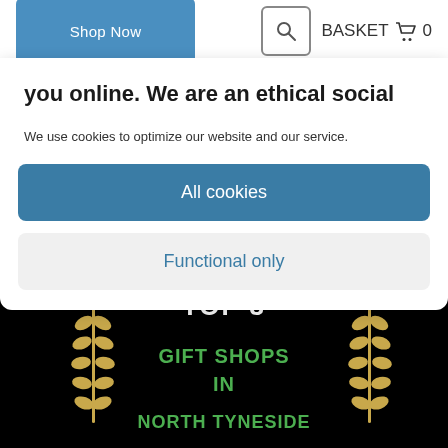Shop Now | BASKET 0
you online. We are an ethical social
We use cookies to optimize our website and our service.
All cookies
Functional only
[Figure (illustration): Award badge on black background with gold laurel wreaths showing TOP 3 GIFT SHOPS IN NORTH TYNESIDE in green and white text]